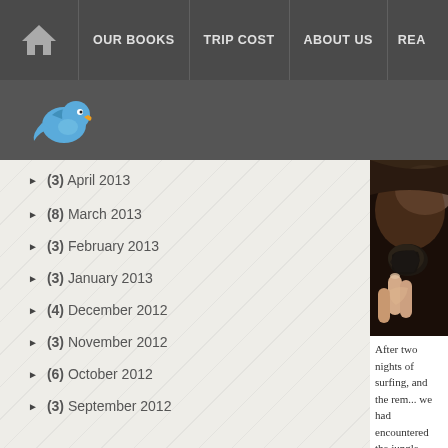HOME | OUR BOOKS | TRIP COST | ABOUT US | REA...
[Figure (logo): Twitter bird icon in blue]
► (3) April 2013
► (8) March 2013
► (3) February 2013
► (3) January 2013
► (4) December 2012
► (3) November 2012
► (6) October 2012
► (3) September 2012
[Figure (photo): Close-up photo of a hand holding a dark object, likely a turtle or small animal]
After two nights of surfing, and the rem... we had encountered the jungle-covered m...